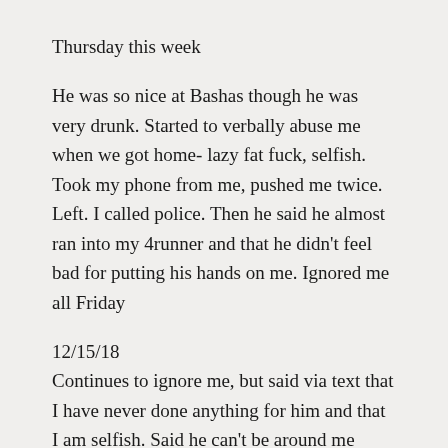Thursday this week
He was so nice at Bashas though he was very drunk. Started to verbally abuse me when we got home- lazy fat fuck, selfish.
Took my phone from me, pushed me twice. Left. I called police. Then he said he almost ran into my 4runner and that he didn't feel bad for putting his hands on me. Ignored me all Friday
12/15/18
Continues to ignore me, but said via text that I have never done anything for him and that I am selfish. Said he can't be around me because it's not safe, he's the one who drinks and is abusive. Ignores the fact that